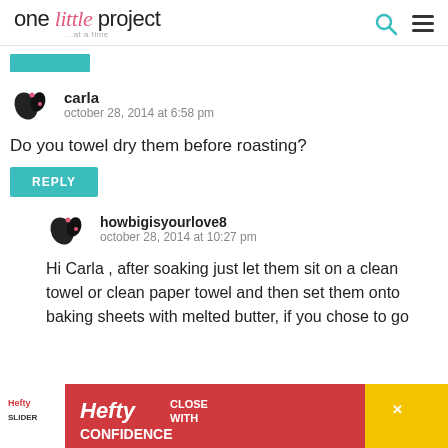one little project ...at a time
carla
october 28, 2014 at 6:58 pm
Do you towel dry them before roasting?
REPLY
howbigisyourlove8
october 28, 2014 at 10:27 pm
Hi Carla , after soaking just let them sit on a clean towel or clean paper towel and then set them onto baking sheets with melted butter, if you chose to go ha... le ol... at
[Figure (other): Hefty Slider advertisement banner at the bottom of the page with yellow background and red Hefty logo with 'CLOSE WITH CONFIDENCE' text]